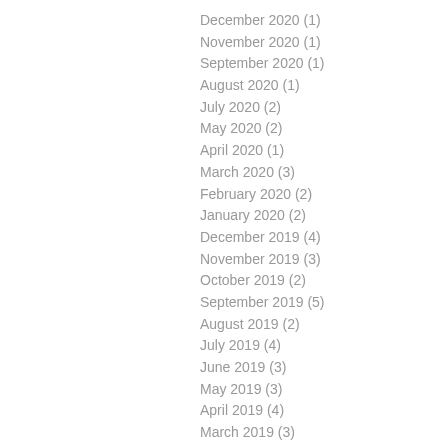December 2020 (1)
November 2020 (1)
September 2020 (1)
August 2020 (1)
July 2020 (2)
May 2020 (2)
April 2020 (1)
March 2020 (3)
February 2020 (2)
January 2020 (2)
December 2019 (4)
November 2019 (3)
October 2019 (2)
September 2019 (5)
August 2019 (2)
July 2019 (4)
June 2019 (3)
May 2019 (3)
April 2019 (4)
March 2019 (3)